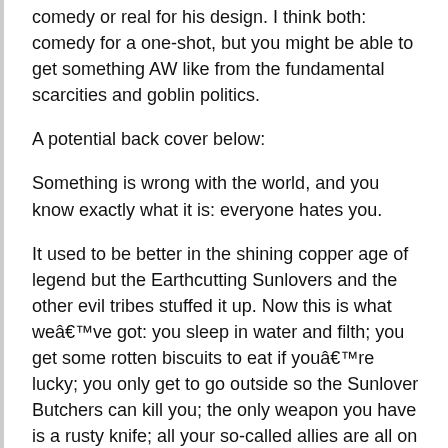comedy or real for his design. I think both: comedy for a one-shot, but you might be able to get something AW like from the fundamental scarcities and goblin politics.
A potential back cover below:
Something is wrong with the world, and you know exactly what it is: everyone hates you.
It used to be better in the shining copper age of legend but the Earthcutting Sunlovers and the other evil tribes stuffed it up. Now this is what weâ€™ve got: you sleep in water and filth; you get some rotten biscuits to eat if youâ€™re lucky; you only get to go outside so the Sunlover Butchers can kill you; the only weapon you have is a rusty knife; all your so-called allies are all on â€˜The Listâ€™; and the Cave Leader whips you if you complain.
But you can fight back! Raiders loot and pillage the Sunlovers farms. Marauders charge in and cut down Scary Forestlurkers before they can sing their cursing